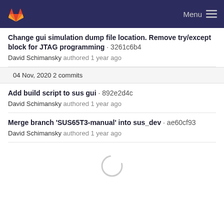Menu
Change gui simulation dump file location. Remove try/except block for JTAG programming · 3261c6b4
David Schimansky authored 1 year ago
04 Nov, 2020 2 commits
Add build script to sus gui · 892e2d4c
David Schimansky authored 1 year ago
Merge branch 'SUS65T3-manual' into sus_dev · ae60cf93
David Schimansky authored 1 year ago
[Figure (other): Loading spinner circle indicator]